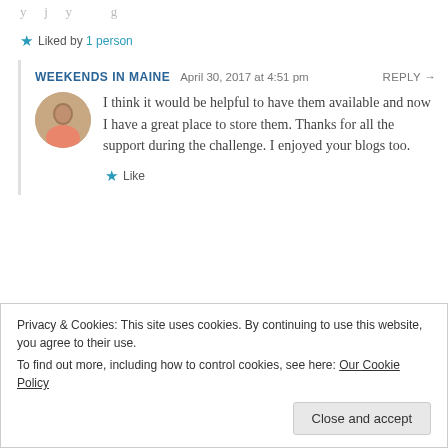Liked by 1 person
WEEKENDS IN MAINE  April 30, 2017 at 4:51 pm  REPLY →
I think it would be helpful to have them available and now I have a great place to store them. Thanks for all the support during the challenge. I enjoyed your blogs too.
Like
Privacy & Cookies: This site uses cookies. By continuing to use this website, you agree to their use. To find out more, including how to control cookies, see here: Our Cookie Policy